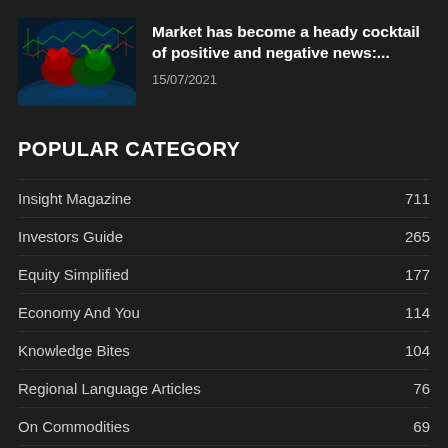[Figure (photo): Thumbnail image showing bull and bear market graphic with blue and green tones on dark background]
Market has become a heady cocktail of positive and negative news:...
15/07/2021
POPULAR CATEGORY
Insight Magazine  711
Investors Guide  265
Equity Simplified  177
Economy And You  114
Knowledge Bites  104
Regional Language Articles  76
On Commodities  69
Financial Planning  57
THE NEWS  57